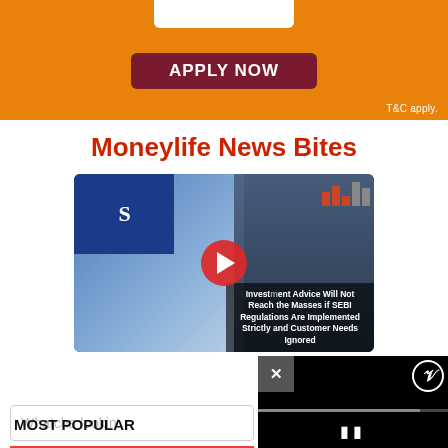[Figure (other): Orange banner advertisement with APPLY NOW button and T&C apply text]
Moneylife News Bites
[Figure (other): Video thumbnail showing a man in front of SEBI logo with overlay text: Investment Advice Will Not Reach the Masses if SEBI Regulations Are Implemented Strictly and Customer Needs Ignored. Red play button in center.]
Subscribe Now
Whatcha lookin'
MOST POPULAR
[Figure (other): Black video popup overlay with X close button, circular icon, progress bar, and pause button]